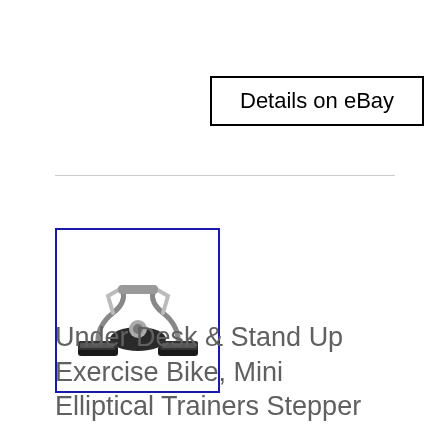Details on eBay
[Figure (photo): A mini elliptical stepper / under-desk exercise bike pedal machine, shown in black and silver, with foot pedals on a compact frame.]
Under Desk & Stand Up Exercise Bike, Mini Elliptical Trainers Stepper